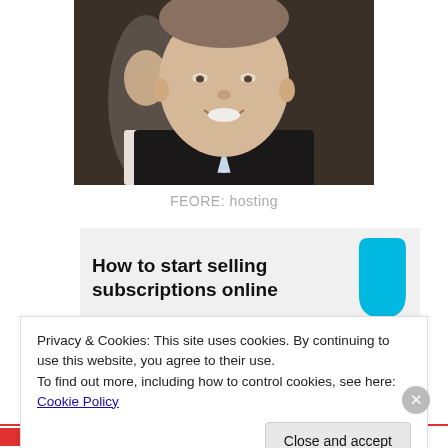[Figure (photo): Headshot photo of a smiling middle-aged man in a suit and light blue shirt, with another person partially visible in the background.]
FEORE: hosting
[Figure (infographic): Advertisement banner reading 'How to start selling subscriptions online' with a cyan/blue teardrop shape on the right side.]
Privacy & Cookies: This site uses cookies. By continuing to use this website, you agree to their use.
To find out more, including how to control cookies, see here: Cookie Policy
Close and accept